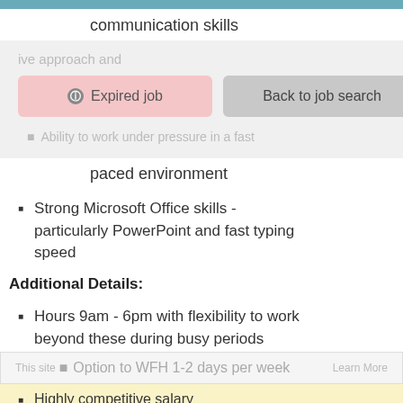communication skills
Expired job
Back to job search
Ability to work under pressure in a fast paced environment
Strong Microsoft Office skills - particularly PowerPoint and fast typing speed
Additional Details:
Hours 9am - 6pm with flexibility to work beyond these during busy periods
This site uses cookies. Learn More
Option to WFH 1-2 days per week
Highly competitive salary